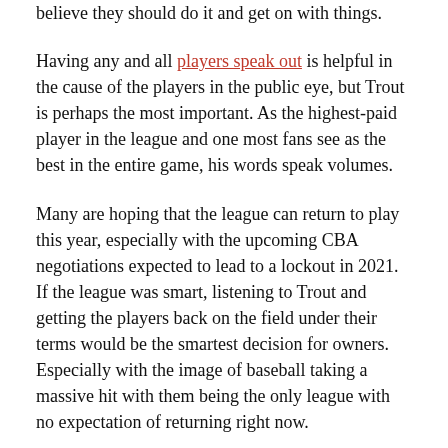believe they should do it and get on with things.
Having any and all players speak out is helpful in the cause of the players in the public eye, but Trout is perhaps the most important. As the highest-paid player in the league and one most fans see as the best in the entire game, his words speak volumes.
Many are hoping that the league can return to play this year, especially with the upcoming CBA negotiations expected to lead to a lockout in 2021. If the league was smart, listening to Trout and getting the players back on the field under their terms would be the smartest decision for owners. Especially with the image of baseball taking a massive hit with them being the only league with no expectation of returning right now.